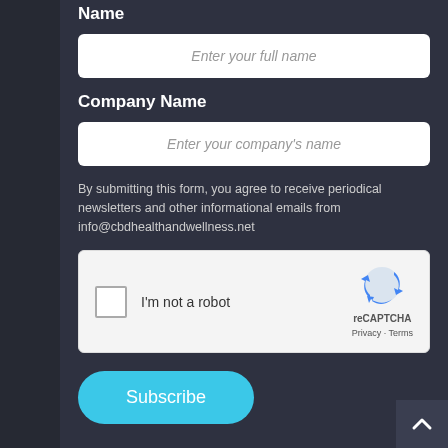Name
Enter your full name
Company Name
Enter your company's name
By submitting this form, you agree to receive periodical newsletters and other informational emails from info@cbdhealthandwellness.net
[Figure (screenshot): reCAPTCHA widget with checkbox labeled I'm not a robot and Google reCAPTCHA logo with Privacy and Terms links]
Subscribe